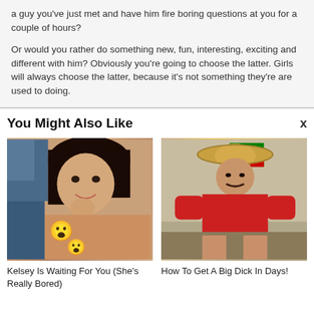a guy you've just met and have him fire boring questions at you for a couple of hours?

Or would you rather do something new, fun, interesting, exciting and different with him? Obviously you're going to choose the latter. Girls will always choose the latter, because it's not something they're are used to doing.
You Might Also Like
[Figure (photo): Photo of a young woman with emoji overlays censoring content]
Kelsey Is Waiting For You (She's Really Bored)
[Figure (photo): Photo of a man wearing a hat and red shirt sitting on a bed]
How To Get A Big Dick In Days!